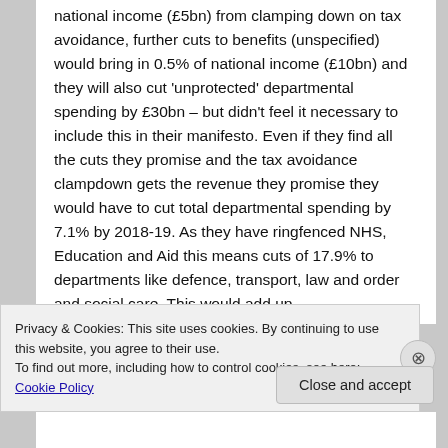national income (£5bn) from clamping down on tax avoidance, further cuts to benefits (unspecified) would bring in 0.5% of national income (£10bn) and they will also cut 'unprotected' departmental spending by £30bn – but didn't feel it necessary to include this in their manifesto. Even if they find all the cuts they promise and the tax avoidance clampdown gets the revenue they promise they would have to cut total departmental spending by 7.1% by 2018-19. As they have ringfenced NHS, Education and Aid this means cuts of 17.9% to departments like defence, transport, law and order and social care. This would add up
Privacy & Cookies: This site uses cookies. By continuing to use this website, you agree to their use.
To find out more, including how to control cookies, see here: Cookie Policy
Close and accept